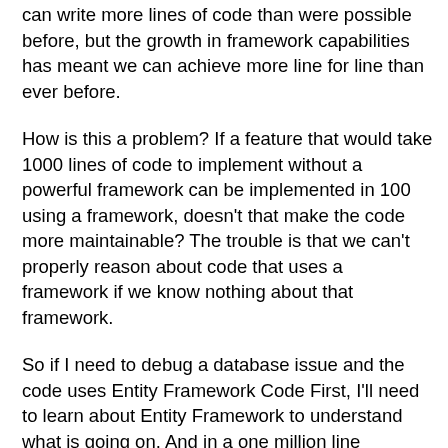can write more lines of code than were possible before, but the growth in framework capabilities has meant we can achieve more line for line than ever before.
How is this a problem? If a feature that would take 1000 lines of code to implement without a powerful framework can be implemented in 100 using a framework, doesn't that make the code more maintainable? The trouble is that we can't properly reason about code that uses a framework if we know nothing about that framework.
So if I need to debug a database issue and the code uses Entity Framework Code First, I'll need to learn about Entity Framework to understand what is going on. And in a one million line codebase, there will be quite a lot of frameworks, libraries and technologies that I find myself needing to understand.
It's not uncommon to find several competing frameworks co-exist within the same monolithic codebase, so there's Entity Framework, but there's also NHibernate, and Linq2Sql and some raw ADO.NET and maybe some Simple.Data too. There's XML serialization, Binary serialization and JSON